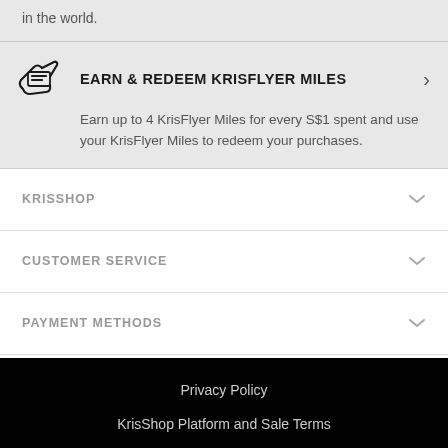in the world.
EARN & REDEEM KRISFLYER MILES
Earn up to 4 KrisFlyer Miles for every S$1 spent and use your KrisFlyer Miles to redeem your purchases.
KRISSHOP
CUSTOMER SERVICE
PAYMENT METHODS
CONTACT US
Privacy Policy
KrisShop Platform and Sale Terms